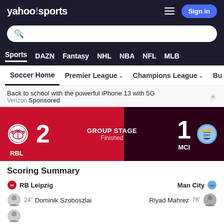yahoo!sports
[Figure (screenshot): Yahoo Sports navigation bar with search, Sports, DAZN, Fantasy, NHL, NBA, NFL, MLB links]
Soccer Home | Premier League | Champions League | Bu
Back to school with the powerful iPhone 13 with 5G
Verizon Sponsored
[Figure (infographic): Score card: RBL 2 vs MCI 1, GROUP STAGE, Finished]
Scoring Summary
RB Leipzig	Man City
24' Dominik Szoboszlai	Riyad Mahrez 76'